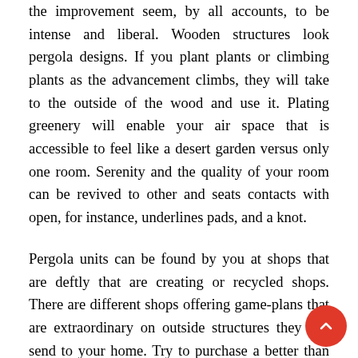the improvement seem, by all accounts, to be intense and liberal. Wooden structures look pergola designs. If you plant plants or climbing plants as the advancement climbs, they will take to the outside of the wood and use it. Plating greenery will enable your air space that is accessible to feel like a desert garden versus only one room. Serenity and the quality of your room can be revived to other and seats contacts with open, for instance, underlines pads, and a knot.
Pergola units can be found by you at shops that are deftly that are creating or recycled shops. There are different shops offering game-plans that are extraordinary on outside structures they can send to your home. Try to purchase a better than average material like your loved ones expanded length satisfaction and wood will last you. The bit of these